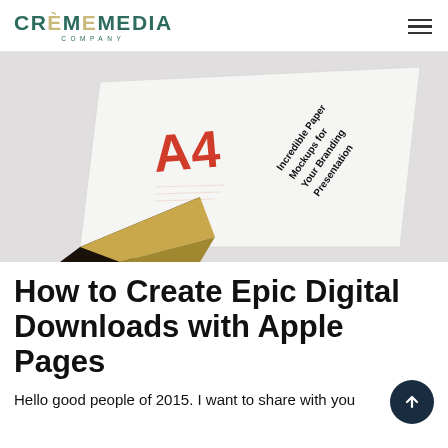CREMEMEDIA COMPANY
[Figure (photo): A4 paper mockup with gold foil page curl showing 'Incredible Paper Mockups for Your Branding Presentation' text, on a light gray background]
How to Create Epic Digital Downloads with Apple Pages
Hello good people of 2015. I want to share with you